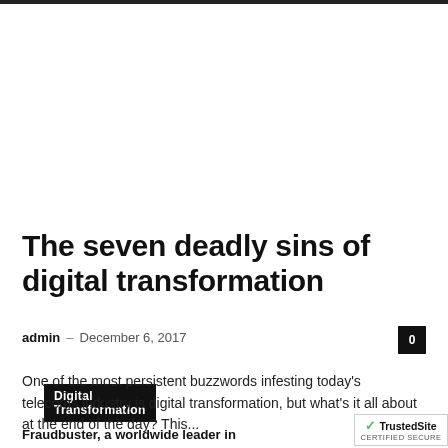Digital Transformation
The seven deadly sins of digital transformation
admin – December 6, 2017  0
One of the most persistent buzzwords infesting today's telecoms industry is digital transformation, but what's it all about at the end of the day? This...
Fraudbuster, a worldwide leader in